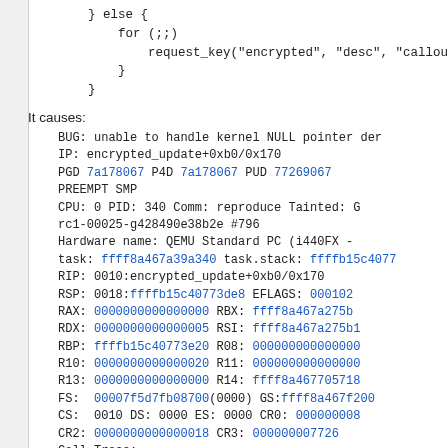} else {
    for (;;)
        request_key("encrypted", "desc", "callou
    }
}
It causes:
BUG: unable to handle kernel NULL pointer der
IP: encrypted_update+0xb0/0x170
PGD 7a178067 P4D 7a178067 PUD 77269067
PREEMPT SMP
CPU: 0 PID: 340 Comm: reproduce Tainted: G rc1-00025-g428490e38b2e #796
Hardware name: QEMU Standard PC (i440FX -
task: ffff8a467a39a340 task.stack: ffffb15c4077
RIP: 0010:encrypted_update+0xb0/0x170
RSP: 0018:ffffb15c40773de8 EFLAGS: 000102
RAX: 0000000000000000 RBX: ffff8a467a275b
RDX: 0000000000000005 RSI: ffff8a467a275b1
RBP: ffffb15c40773e20 R08: 000000000000000
R10: 0000000000000020 R11: 000000000000000
R13: 0000000000000000 R14: ffff8a467705718
FS:  00007f5d7fb08700(0000) GS:ffff8a467f200
CS:  0010 DS: 0000 ES: 0000 CR0: 000000008
CR2: 0000000000000018 CR3: 000000007726
Call Trace:
 key_create_or_update+0x2bc/0x460
 SyS_add_key+0x10c/0x1d0
 entry_SYSCALL_64_fastpath+0x1f/0xbe
RIP: 0000:0x7f5d7f844050